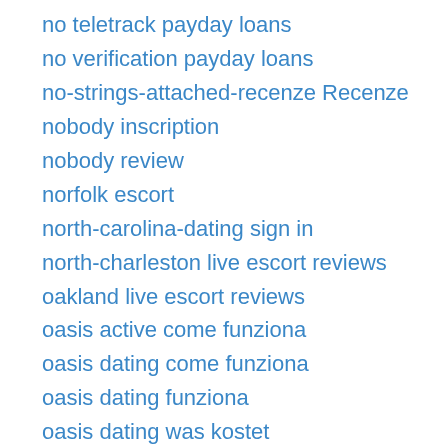no teletrack payday loans
no verification payday loans
no-strings-attached-recenze Recenze
nobody inscription
nobody review
norfolk escort
north-carolina-dating sign in
north-charleston live escort reviews
oakland live escort reviews
oasis active come funziona
oasis dating come funziona
oasis dating funziona
oasis dating was kostet
oasis dating web
oasis-active-recenze Recenze